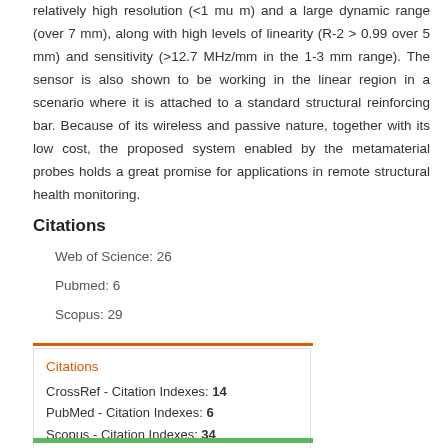relatively high resolution (<1 mu m) and a large dynamic range (over 7 mm), along with high levels of linearity (R-2 > 0.99 over 5 mm) and sensitivity (>12.7 MHz/mm in the 1-3 mm range). The sensor is also shown to be working in the linear region in a scenario where it is attached to a standard structural reinforcing bar. Because of its wireless and passive nature, together with its low cost, the proposed system enabled by the metamaterial probes holds a great promise for applications in remote structural health monitoring.
Citations
Web of Science: 26
Pubmed: 6
Scopus: 29
| CrossRef - Citation Indexes: 14 |
| PubMed - Citation Indexes: 6 |
| Scopus - Citation Indexes: 34 |